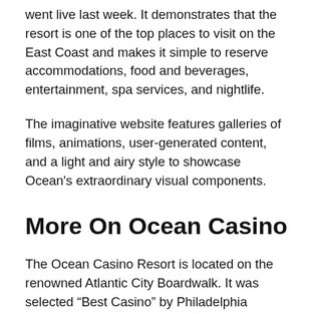went live last week. It demonstrates that the resort is one of the top places to visit on the East Coast and makes it simple to reserve accommodations, food and beverages, entertainment, spa services, and nightlife.
The imaginative website features galleries of films, animations, user-generated content, and a light and airy style to showcase Ocean's extraordinary visual components.
More On Ocean Casino
The Ocean Casino Resort is located on the renowned Atlantic City Boardwalk. It was selected “Best Casino” by Philadelphia Magazine’s “Best of Philly 2021” awards and is situated on more than 20 acres of beachfront property.